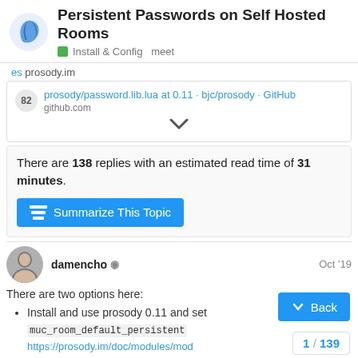Persistent Passwords on Self Hosted Rooms
Install & Config   meet
es prosody.im
82  prosody/password.lib.lua at 0.11 · bjc/prosody · GitHub
github.com
There are 138 replies with an estimated read time of 31 minutes.
Summarize This Topic
damencho   Oct '19
There are two options here:
Install and use prosody 0.11 and set muc_room_default_persistent
https://prosody.im/doc/modules/mod
Back
1 / 139